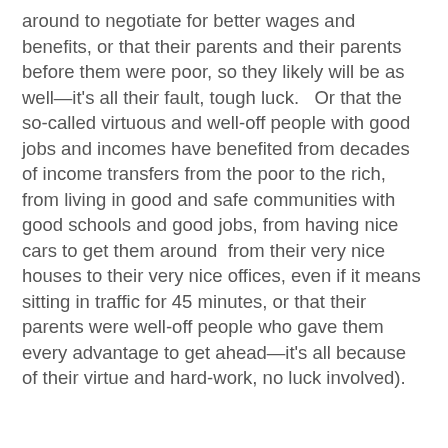around to negotiate for better wages and benefits, or that their parents and their parents before them were poor, so they likely will be as well—it's all their fault, tough luck.   Or that the so-called virtuous and well-off people with good jobs and incomes have benefited from decades of income transfers from the poor to the rich, from living in good and safe communities with good schools and good jobs, from having nice cars to get them around  from their very nice houses to their very nice offices, even if it means sitting in traffic for 45 minutes, or that their parents were well-off people who gave them every advantage to get ahead—it's all because of their virtue and hard-work, no luck involved).